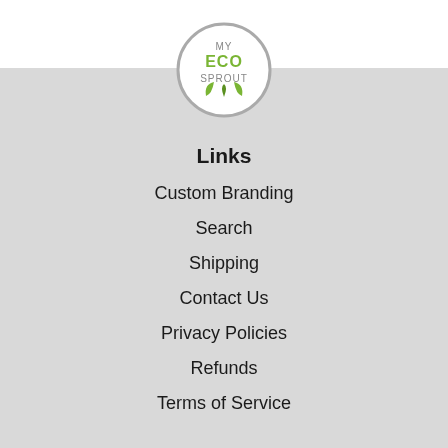[Figure (logo): My Eco Sprout logo — circular badge with gray border, text 'MY ECO SPROUT' and two green leaves at the bottom]
Links
Custom Branding
Search
Shipping
Contact Us
Privacy Policies
Refunds
Terms of Service
Newsletter
Sign up for the latest news, offers and free monthly downloads